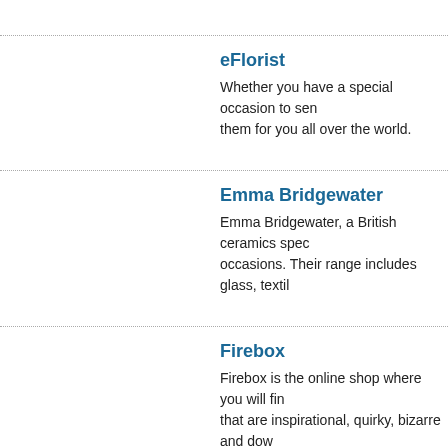eFlorist
Whether you have a special occasion to send flowers for, or just want to treat someone special, eFlorist will deliver them for you all over the world.
Emma Bridgewater
Emma Bridgewater, a British ceramics specialist, create a range of beautiful gifts for weddings, birthdays and other occasions. Their range includes glass, textiles and much more.
Firebox
Firebox is the online shop where you will find a fantastic range of original product ideas and unusual gifts that are inspirational, quirky, bizarre and downright brilliant.
FunkyHampers
FunkyHampers offers an astonishing collection of unique gifts and hampers ideal for birthdays, Christmas and other auspicious occasions. Ranges include